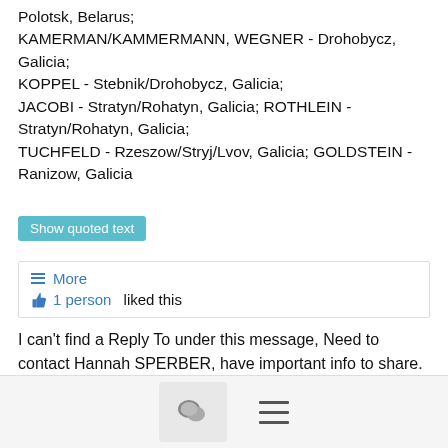Polotsk, Belarus; KAMERMAN/KAMMERMANN, WEGNER - Drohobycz, Galicia; KOPPEL - Stebnik/Drohobycz, Galicia; JACOBI - Stratyn/Rohatyn, Galicia; ROTHLEIN - Stratyn/Rohatyn, Galicia; TUCHFELD - Rzeszow/Stryj/Lvov, Galicia; GOLDSTEIN - Ranizow, Galicia
Show quoted text
≡ More
👍 1 person liked this
I can't find a Reply To under this message, Need to contact Hannah SPERBER, have important info to share.